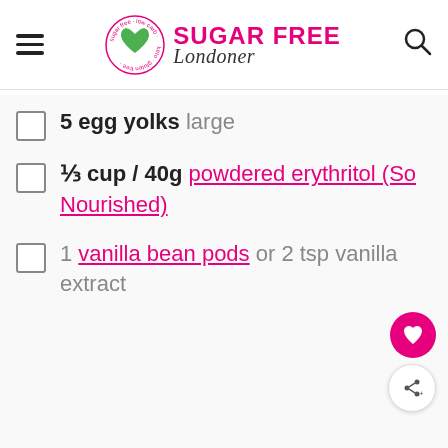Sugar Free Londoner
5 egg yolks large
⅓ cup / 40g powdered erythritol (So Nourished)
1 vanilla bean pods or 2 tsp vanilla extract